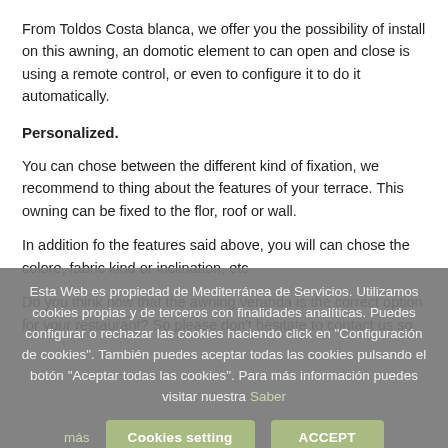From Toldos Costa blanca, we offer you the possibility of install on this awning, an domotic element to can open and close is using a remote control, or even to configure it to do it automatically.
Personalized.
You can chose between the different kind of fixation, we recommend to thing about the features of your terrace. This owning can be fixed to the flor, roof or wall.
In addition fo the features said above, you will can chose the colore, fabric kind or inclination, etc.
Do you think now that the awning veranda is the correct option for your restaurant? So please don't hesitate to contact us so can advise you! You
Esta Web es propiedad de Mediterránea de Servicios. Utilizamos cookies propias y de terceros con finalidades analíticas. Puedes configurar o rechazar las cookies haciendo click en "Configuración de cookies". También puedes aceptar todas las cookies pulsando el botón "Aceptar todas las cookies". Para más información puedes visitar nuestra Saber más
Cookies setting | ACCEPT